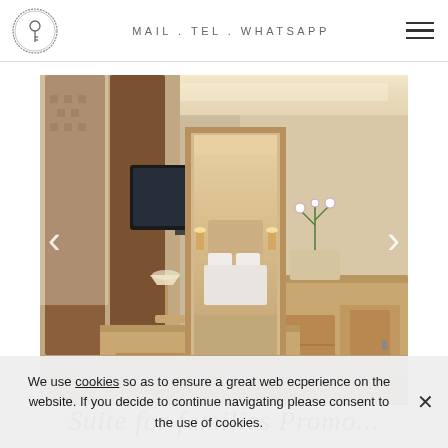[Figure (logo): Circular logo with ornate key symbol in center, hand-drawn circle border]
MAIL . TEL . WHATSAPP
[Figure (photo): Hotel suite interior showing a living area with wooden desk, TV on wall, brown patterned curtains, and a doorway leading to bedroom with white bed linens and orchid flower arrangement]
Suite for families Promo...
We use cookies so as to ensure a great web ecperience on the website. If you decide to continue navigating please consent to the use of cookies.